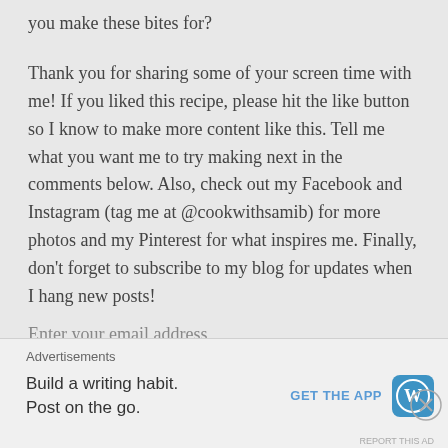you make these bites for?
Thank you for sharing some of your screen time with me! If you liked this recipe, please hit the like button so I know to make more content like this. Tell me what you want me to try making next in the comments below. Also, check out my Facebook and Instagram (tag me at @cookwithsamib) for more photos and my Pinterest for what inspires me. Finally, don’t forget to subscribe to my blog for updates when I hang new posts!
Enter your email address
Advertisements
Build a writing habit.
Post on the go.
GET THE APP